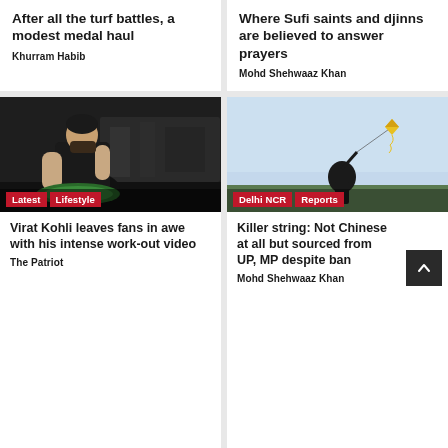After all the turf battles, a modest medal haul
Khurram Habib
Where Sufi saints and djinns are believed to answer prayers
Mohd Shehwaaz Khan
[Figure (photo): A man exercising in a gym, crouching near weightlifting equipment with an ELEIKO barbell plate visible. Tags: Latest, Lifestyle]
Virat Kohli leaves fans in awe with his intense work-out video
The Patriot
[Figure (photo): Silhouette of a person flying a kite against a light blue sky. Tags: Delhi NCR, Reports]
Killer string: Not Chinese at all but sourced from UP, MP despite ban
Mohd Shehwaaz Khan